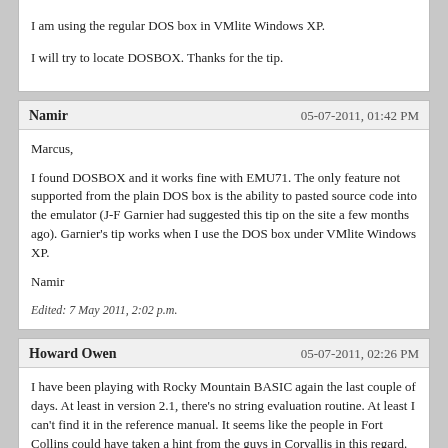I am using the regular DOS box in VMlite Windows XP.

I will try to locate DOSBOX. Thanks for the tip.
Namir
05-07-2011, 01:42 PM
Marcus,

I found DOSBOX and it works fine with EMU71. The only feature not supported from the plain DOS box is the ability to pasted source code into the emulator (J-F Garnier had suggested this tip on the site a few months ago). Garnier's tip works when I use the DOS box under VMlite Windows XP.

Namir

Edited: 7 May 2011, 2:02 p.m.
Howard Owen
05-07-2011, 02:26 PM
I have been playing with Rocky Mountain BASIC again the last couple of days. At least in version 2.1, there's no string evaluation routine. At least I can't find it in the reference manual. It seems like the people in Fort Collins could have taken a hint from the guys in Corvallis in this regard.

You can do recursion in RMB though.